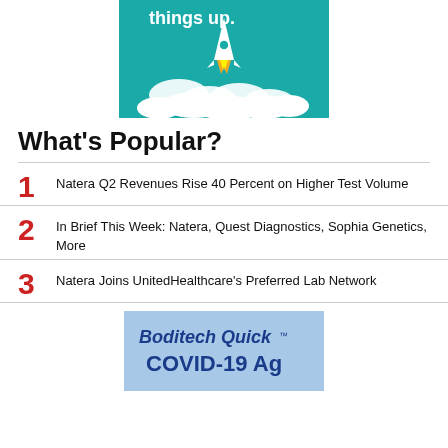[Figure (illustration): Teal/turquoise advertisement banner with rocket launching upward through clouds, text 'things up.' visible at top]
What's Popular?
1 Natera Q2 Revenues Rise 40 Percent on Higher Test Volume
2 In Brief This Week: Natera, Quest Diagnostics, Sophia Genetics, More
3 Natera Joins UnitedHealthcare's Preferred Lab Network
[Figure (illustration): Boditech Quick COVID-19 Ag advertisement with blue background and white/blue text]